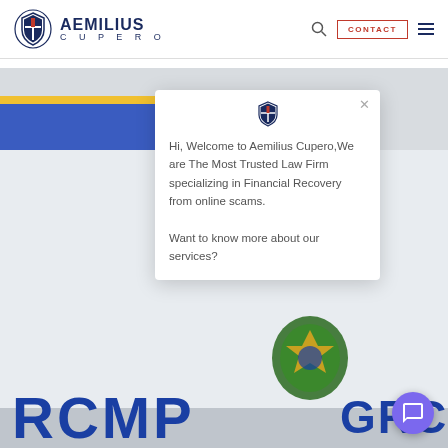Aemilius Cupero | CONTACT | navigation
[Figure (screenshot): Website screenshot of Aemilius Cupero law firm page showing an RCMP police car image in the background with a chat popup overlay. The popup contains a shield logo, close button, and welcome message about the law firm specializing in financial recovery from online scams. A purple chat button is visible in the bottom right corner.]
Hi, Welcome to Aemilius Cupero,We are The Most Trusted Law Firm specializing in Financial Recovery from online scams. Want to know more about our services?